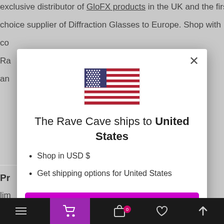exclusive distributor of GloFX products in the UK and the first choice supplier of Diffraction Glasses to Europe. Shop with co Ra an
Pr lim mi rav
[Figure (screenshot): A modal dialog popup showing the US flag, text 'The Rave Cave ships to United States', bullet points 'Shop in USD $' and 'Get shipping options for United States', a magenta 'Shop now' button, and a 'Change shipping country' link. Background shows partial website text. Bottom navigation bar is black with icons.]